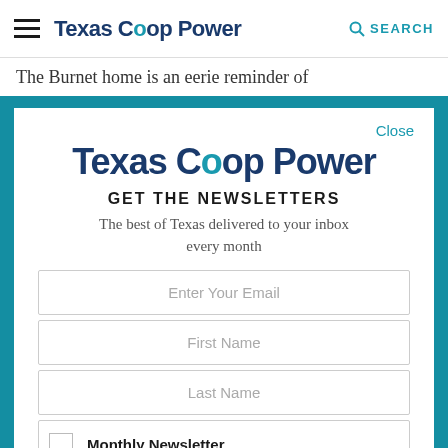Texas Coop Power   SEARCH
The Burnet home is an eerie reminder of
Close
Texas Coop Power
GET THE NEWSLETTERS
The best of Texas delivered to your inbox every month
Enter Your Email
First Name
Last Name
Monthly Newsletter